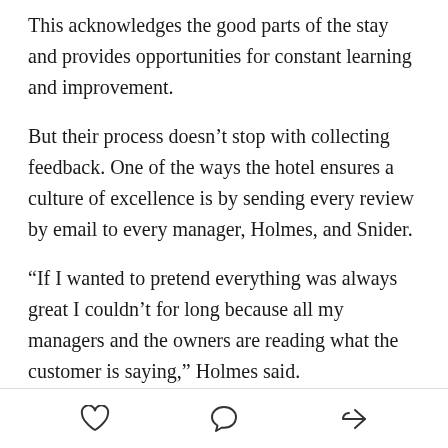This acknowledges the good parts of the stay and provides opportunities for constant learning and improvement.
But their process doesn't stop with collecting feedback. One of the ways the hotel ensures a culture of excellence is by sending every review by email to every manager, Holmes, and Snider.
“If I wanted to pretend everything was always great I couldn’t for long because all my managers and the owners are reading what the customer is saying,” Holmes said.
“We read every survey and every review,” Snider confirmed.
[heart icon] [comment icon] [share icon]